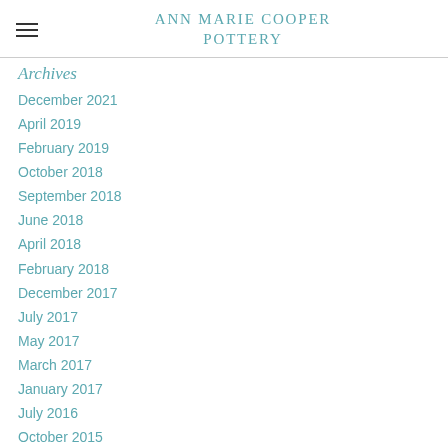ANN MARIE COOPER POTTERY
Archives
December 2021
April 2019
February 2019
October 2018
September 2018
June 2018
April 2018
February 2018
December 2017
July 2017
May 2017
March 2017
January 2017
July 2016
October 2015
August 2015